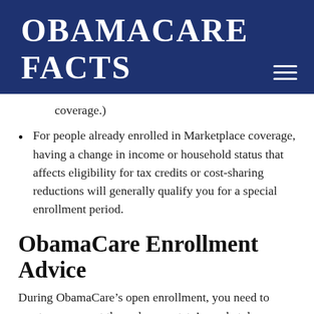OBAMACARE FACTS
coverage.)
For people already enrolled in Marketplace coverage, having a change in income or household status that affects eligibility for tax credits or cost-sharing reductions will generally qualify you for a special enrollment period.
ObamaCare Enrollment Advice
During ObamaCare’s open enrollment, you need to create an account through your state’s marketplace, choose a plan, and enroll before the deadline. The verification process during account creation can take time. Beyond that,